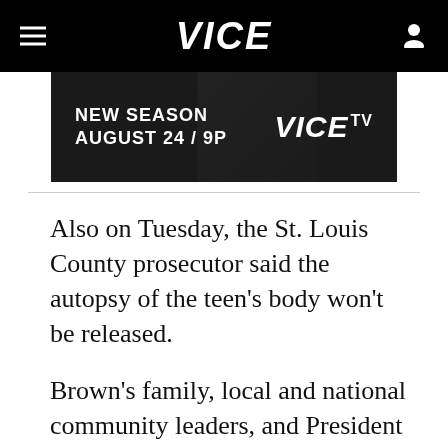VICE
[Figure (screenshot): VICE TV advertisement banner: NEW SEASON AUGUST 24 / 9P with VICE TV logo on dark background]
Also on Tuesday, the St. Louis County prosecutor said the autopsy of the teen's body won't be released.
Brown's family, local and national community leaders, and President Obama have appealed for calm.
"The death of Michael Brown is heartbreaking, and Michelle and I send our deepest